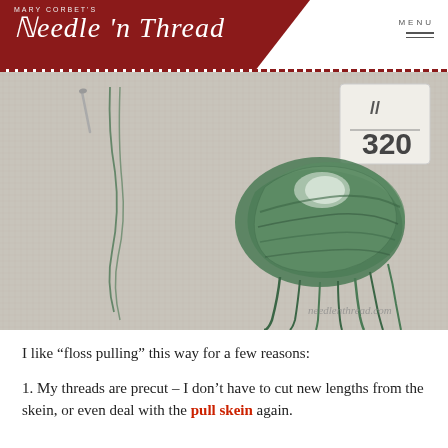Mary Corbet's Needle 'n Thread
[Figure (photo): A green embroidery floss skein (DMC color 320) on a white Aida fabric background, with a plastic thread card labeled '320' and a needle visible at the top left. The floss is partially unwound showing individual strands. Watermark 'needlenthread.com' visible at bottom right.]
I like “floss pulling” this way for a few reasons:
1. My threads are precut – I don’t have to cut new lengths from the skein, or even deal with the pull skein again.